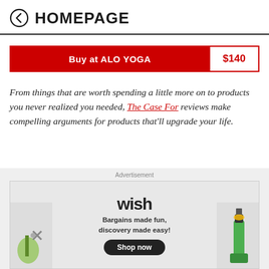HOMEPAGE
Buy at ALO YOGA  $140
From things that are worth spending a little more on to products you never realized you needed, The Case For reviews make compelling arguments for products that'll upgrade your life.
Advertisement
[Figure (screenshot): Wish advertisement banner: 'Bargains made fun, discovery made easy!' with Shop now button and product images]